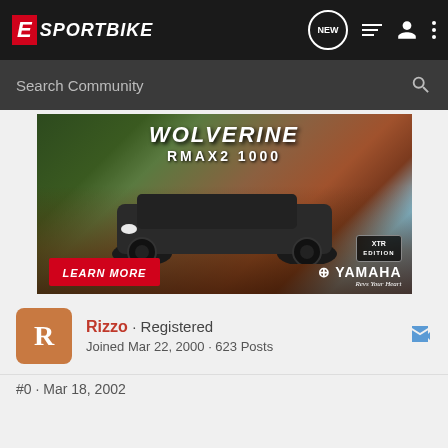eSportbike — navigation bar with logo, NEW, list, user, and menu icons
Search Community
[Figure (photo): Yamaha Wolverine RMAX2 1000 XTR Edition off-road vehicle advertisement. Shows the vehicle navigating rocky terrain with forest and red rock canyon backgrounds. Includes 'LEARN MORE' red button and Yamaha 'Revs Your Heart' branding.]
Rizzo · Registered
Joined Mar 22, 2000 · 623 Posts
#0 · Mar 18, 2002